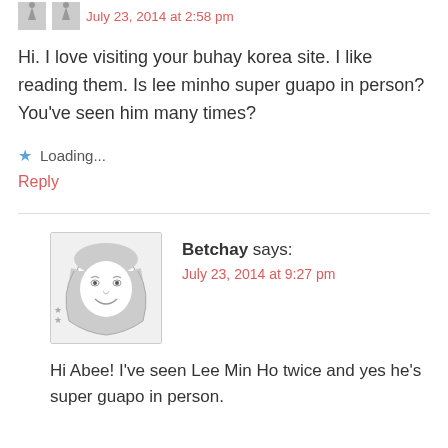July 23, 2014 at 2:58 pm
Hi. I love visiting your buhay korea site. I like reading them. Is lee minho super guapo in person? You’ve seen him many times?
★ Loading...
Reply
Betchay says:
July 23, 2014 at 9:27 pm
Hi Abee! I’ve seen Lee Min Ho twice and yes he’s super guapo in person.